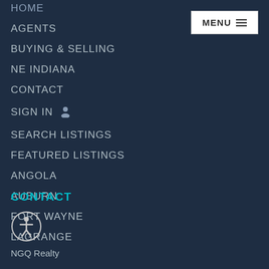HOME
AGENTS
BUYING & SELLING
NE INDIANA
CONTACT
SIGN IN
SEARCH LISTINGS
FEATURED LISTINGS
ANGOLA
AUBURN
FORT WAYNE
LAGRANGE
[Figure (screenshot): MENU button with hamburger icon in white box]
CONTACT
[Figure (illustration): Accessibility icon - person in circle outline]
NGQ Realty